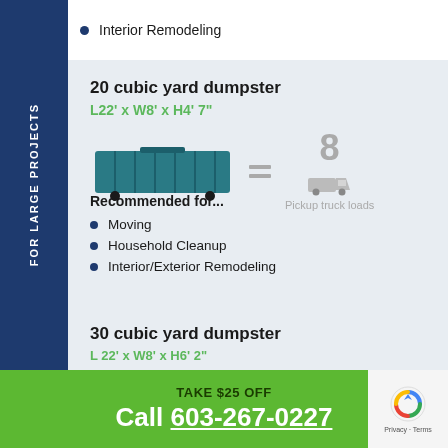Interior Remodeling
20 cubic yard dumpster
L22' x W8' x H4' 7"
[Figure (infographic): Illustration of a teal dumpster equals sign and 8 pickup truck loads equivalency graphic]
Recommended for...
Moving
Household Cleanup
Interior/Exterior Remodeling
30 cubic yard dumpster
L 22' x W8' x H6' 2"
TAKE $25 OFF
Call 603-267-0227